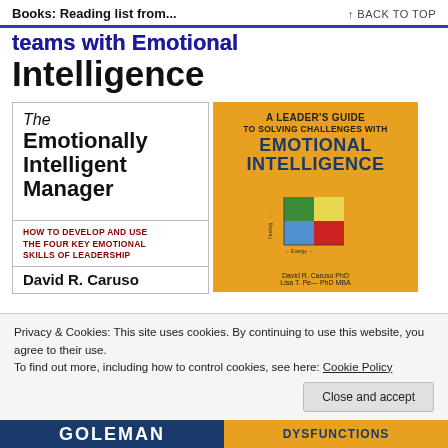Books: Reading list from...    ↑ BACK TO TOP
teams with Emotional Intelligence
[Figure (photo): Book cover: The Emotionally Intelligent Manager by David R. Caruso — white cover with bold black text, red subtitle 'How to Develop and Use the Four Key Emotional Skills of Leadership']
[Figure (photo): Book cover: A Leader's Guide to Solving Challenges with Emotional Intelligence by David R. Caruso PhD — orange cover with dark blue title text and a 2x2 color quadrant chart]
Privacy & Cookies: This site uses cookies. By continuing to use this website, you agree to their use.
To find out more, including how to control cookies, see here: Cookie Policy
Close and accept
[Figure (photo): Bottom bar showing 'GOLEMAN' in white text on navy background and 'DYSFUNCTIONS' in navy text on orange background]